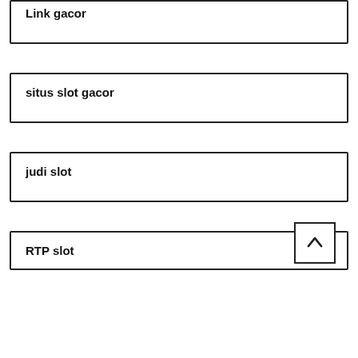Link gacor
situs slot gacor
judi slot
RTP slot